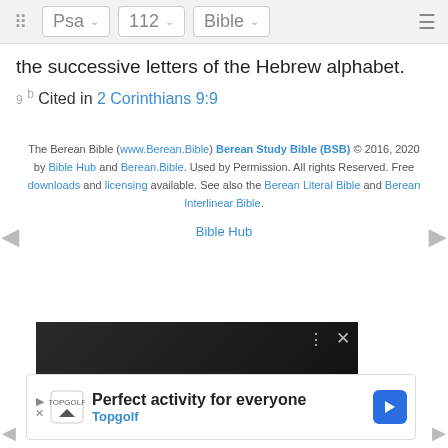Psa | 112 | Bible
the successive letters of the Hebrew alphabet.
9 b Cited in 2 Corinthians 9:9
The Berean Bible (www.Berean.Bible) Berean Study Bible (BSB) © 2016, 2020 by Bible Hub and Berean.Bible. Used by Permission. All rights Reserved. Free downloads and licensing available. See also the Berean Literal Bible and Berean Interlinear Bible.
Bible Hub
[Figure (screenshot): THIS DAY IN HISTORY video thumbnail with close controls]
[Figure (screenshot): Advertisement: Perfect activity for everyone - Topgolf]